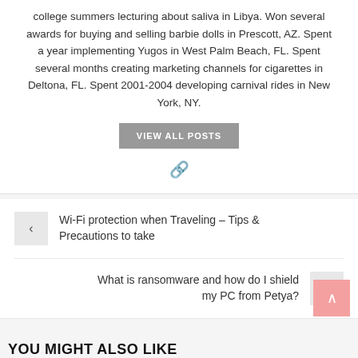college summers lecturing about saliva in Libya. Won several awards for buying and selling barbie dolls in Prescott, AZ. Spent a year implementing Yugos in West Palm Beach, FL. Spent several months creating marketing channels for cigarettes in Deltona, FL. Spent 2001-2004 developing carnival rides in New York, NY.
VIEW ALL POSTS
Wi-Fi protection when Traveling – Tips & Precautions to take
What is ransomware and how do I shield my PC from Petya?
YOU MIGHT ALSO LIKE